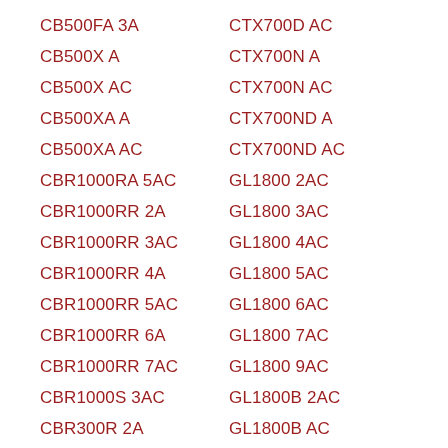CB500FA 3A
CTX700D AC
CB500X A
CTX700N A
CB500X AC
CTX700N AC
CB500XA A
CTX700ND A
CB500XA AC
CTX700ND AC
CBR1000RA 5AC
GL1800 2AC
CBR1000RR 2A
GL1800 3AC
CBR1000RR 3AC
GL1800 4AC
CBR1000RR 4A
GL1800 5AC
CBR1000RR 5AC
GL1800 6AC
CBR1000RR 6A
GL1800 7AC
CBR1000RR 7AC
GL1800 9AC
CBR1000S 3AC
GL1800B 2AC
CBR300R 2A
GL1800B AC
CBR300R 3AC
GL1800C 2AC
CBR300R 8A
GL1800C AC